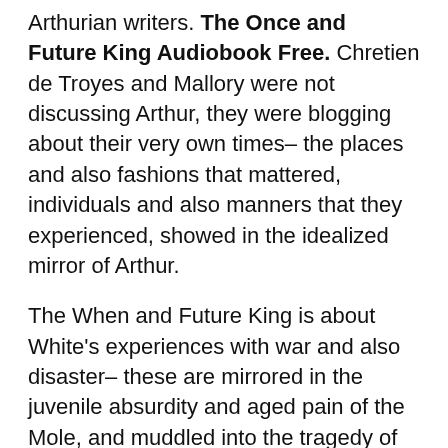Arthurian writers. The Once and Future King Audiobook Free. Chretien de Troyes and Mallory were not discussing Arthur, they were blogging about their very own times– the places and also fashions that mattered, individuals and also manners that they experienced, showed in the idealized mirror of Arthur.
The When and Future King is about White's experiences with war and also disaster– these are mirrored in the juvenile absurdity and aged pain of the Mole, and muddled into the tragedy of Lancelot and Guenever. It is not always an easy publication. It is extremely undoubtedly an item of its very own strange place and time, as all excellent Arthurian stories should be. It is my preferred book.This is among my preferred books. I have actually reviewed it four or five times, always in a that have 10. What did to end